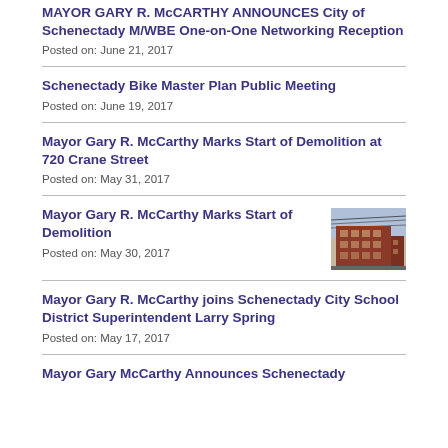MAYOR GARY R. McCARTHY ANNOUNCES City of Schenectady M/WBE One-on-One Networking Reception
Posted on: June 21, 2017
Schenectady Bike Master Plan Public Meeting
Posted on: June 19, 2017
Mayor Gary R. McCarthy Marks Start of Demolition at 720 Crane Street
Posted on: May 31, 2017
Mayor Gary R. McCarthy Marks Start of Demolition
[Figure (photo): Photo of a brick building being demolished]
Posted on: May 30, 2017
Mayor Gary R. McCarthy joins Schenectady City School District Superintendent Larry Spring
Posted on: May 17, 2017
Mayor Gary McCarthy Announces Schenectady